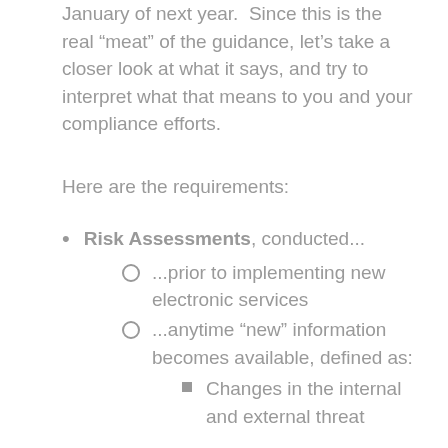January of next year. Since this is the real “meat” of the guidance, let’s take a closer look at what it says, and try to interpret what that means to you and your compliance efforts.
Here are the requirements:
Risk Assessments, conducted...
...prior to implementing new electronic services
...anytime “new” information becomes available, defined as:
Changes in the internal and external threat